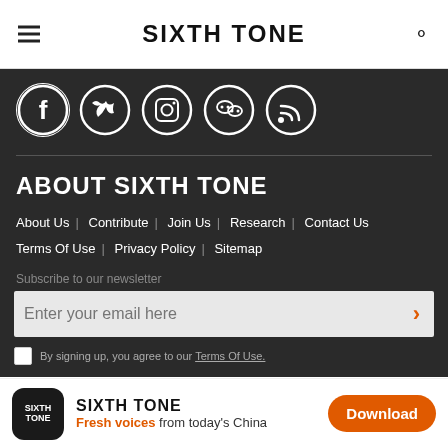SIXTH TONE
[Figure (illustration): Five social media icons in white circles on dark background: Facebook, Twitter, Instagram, WeChat, RSS]
ABOUT SIXTH TONE
About Us | Contribute | Join Us | Research | Contact Us | Terms Of Use | Privacy Policy | Sitemap
Subscribe to our newsletter
Enter your email here
By signing up, you agree to our Terms Of Use.
SIXTH TONE — Fresh voices from today's China — Download